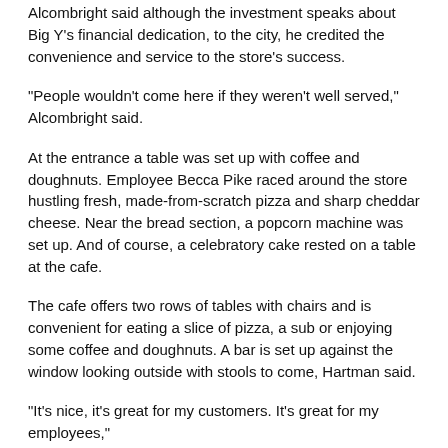Alcombright said although the investment speaks about Big Y's financial dedication, to the city, he credited the convenience and service to the store's success.
"People wouldn't come here if they weren't well served," Alcombright said.
At the entrance a table was set up with coffee and doughnuts. Employee Becca Pike raced around the store hustling fresh, made-from-scratch pizza and sharp cheddar cheese. Near the bread section, a popcorn machine was set up. And of course, a celebratory cake rested on a table at the cafe.
The cafe offers two rows of tables with chairs and is convenient for eating a slice of pizza, a sub or enjoying some coffee and doughnuts. A bar is set up against the window looking outside with stools to come, Hartman said.
"It's nice, it's great for my customers. It's great for my employees,"